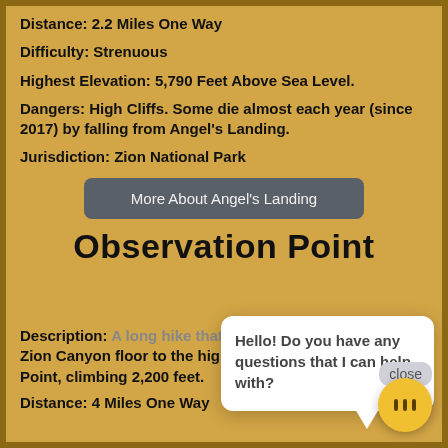Distance: 2.2 Miles One Way
Difficulty: Strenuous
Highest Elevation: 5,790 Feet Above Sea Level.
Dangers: High Cliffs. Some die almost each year (since 2017) by falling from Angel's Landing.
Jurisdiction: Zion National Park
More About Angel's Landing
Observation Point
Hello! Do you have any questions that I can help with?
Description: A long hike that takes you from the Zion Canyon floor to the high overlook of Observation Point, climbing 2,200 feet.
Distance: 4 Miles One Way